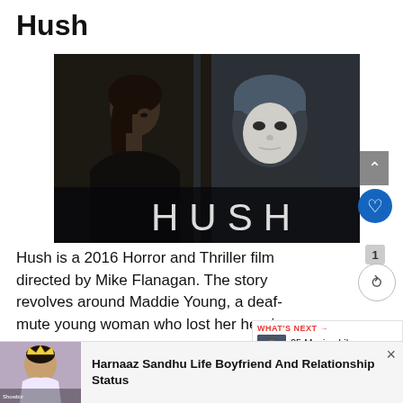Hush
[Figure (photo): Movie still from Hush (2016) showing a woman looking at a masked intruder through a window, with the title HUSH displayed in large letters at the bottom of the image]
Hush is a 2016 Horror and Thriller film directed by Mike Flanagan. The story revolves around Maddie Young, a deaf-mute young woman who lost her hearing and speaking ability
[Figure (screenshot): What's Next widget showing '25 Movies Like Hustle That...' with a thumbnail image]
[Figure (photo): Advertisement banner featuring a woman with a crown (Harnaaz Sandhu) and text: Harnaaz Sandhu Life Boyfriend And Relationship Status]